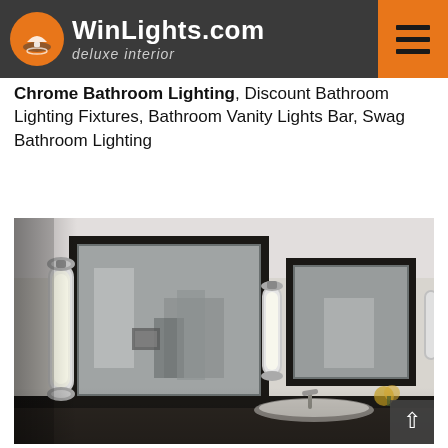WinLights.com deluxe interior
Chrome Bathroom Lighting, Discount Bathroom Lighting Fixtures, Bathroom Vanity Lights Bar, Swag Bathroom Lighting
[Figure (photo): Bathroom with chrome wall sconce lights mounted beside black-framed mirrors above a vanity counter with sinks. Multiple mirrors and light fixtures visible in a white-walled bathroom.]